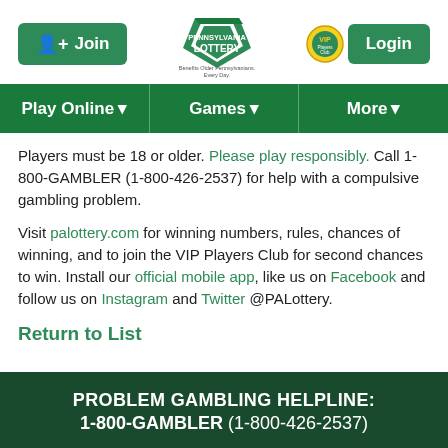[Figure (logo): Pennsylvania Lottery logo with keystone shape and tagline 'Benefits Older Pennsylvanians. Every Day.']
[Figure (logo): VIP Players Club circular logo]
Play Online ▾ | Games ▾ | More ▾
Players must be 18 or older. Please play responsibly. Call 1-800-GAMBLER (1-800-426-2537) for help with a compulsive gambling problem.
Visit palottery.com for winning numbers, rules, chances of winning, and to join the VIP Players Club for second chances to win. Install our official mobile app, like us on Facebook and follow us on Instagram and Twitter @PALottery.
Return to List
PROBLEM GAMBLING HELPLINE: 1-800-GAMBLER (1-800-426-2537)